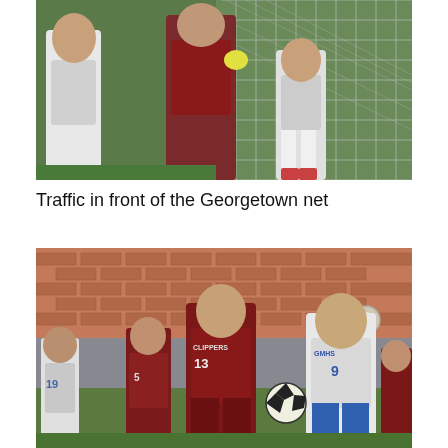[Figure (photo): Soccer players crowded in front of a goal net. Players wearing maroon/dark red and white jerseys, with a hexagonal net visible in the background.]
Traffic in front of the Georgetown net
[Figure (photo): Soccer players running on a field. A player wearing a maroon Clippers jersey number 13 runs alongside a player in white GMHS jersey number 9. Additional players visible in background near brick wall bleachers. A soccer ball is in the air.]